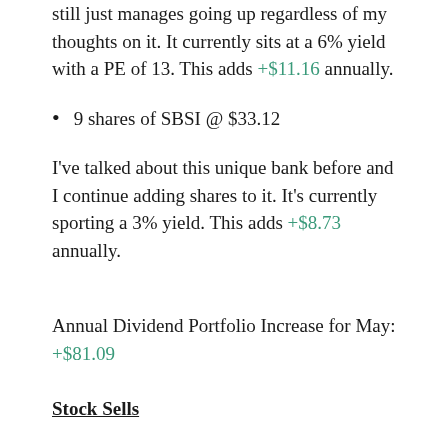still just manages going up regardless of my thoughts on it. It currently sits at a 6% yield with a PE of 13. This adds +$11.16 annually.
9 shares of SBSI @ $33.12
I've talked about this unique bank before and I continue adding shares to it. It's currently sporting a 3% yield. This adds +$8.73 annually.
Annual Dividend Portfolio Increase for May: +$81.09
Stock Sells